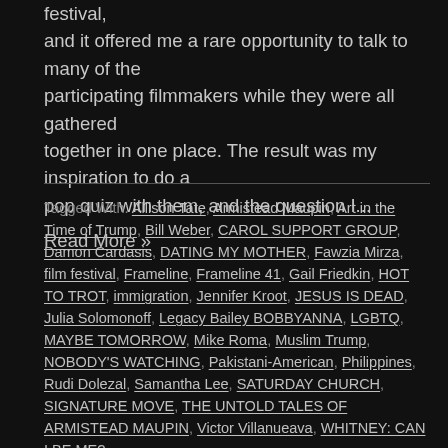festival, and it offered me a rare opportunity to talk to many of the participating filmmakers while they were all gathered together in one place. The result was my inspiration to do a pop quiz with them, and the question I...
Read More »
Tagged With: Allison Tate, Armistead Maupin, Art in the Time of Trump, Bill Weber, CAROL SUPPORT GROUP, Damon Cardasis, DATING MY MOTHER, Fawzia Mirza, film festival, Frameline, Frameline 41, Gail Friedkin, HOT TO TROT, immigration, Jennifer Kroot, JESUS IS DEAD, Julia Solomonoff, Legacy Bailey BOBBYANNA, LGBTQ, MAYBE TOMORROW, Mike Roma, Muslim Trump, NOBODY'S WATCHING, Pakistani-American, Philippines, Rudi Dolezal, Samantha Lee, SATURDAY CHURCH, SIGNATURE MOVE, THE UNTOLD TALES OF ARMISTEAD MAUPIN, Victor Villanueava, WHITNEY: CAN I BE ME?